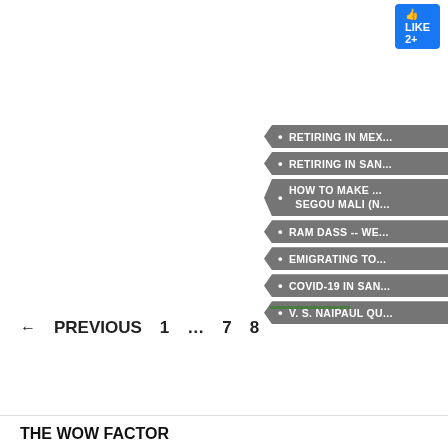[Figure (screenshot): Facebook Like button in blue]
RETIRING IN MEX...
RETIRING IN SAN...
HOW TO MAKE ... SEGOU MALI (N...
RAM DASS -- WE...
EMIGRATING TO...
COVID-19 IN SAN...
V. S. NAIPAUL QU...
← PREVIOUS   1   ...   7   8
THE WOW FACTOR
News, views, reviews and interviews worth factoring into your life